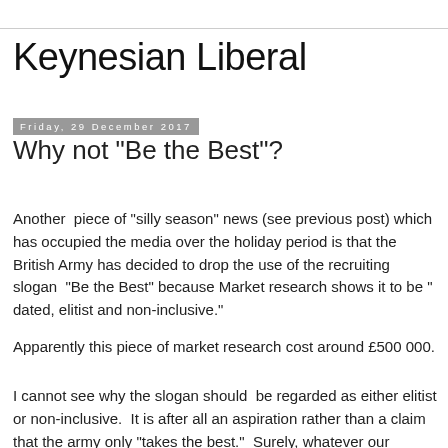Keynesian Liberal
Friday, 29 December 2017
Why not "Be the Best"?
Another  piece of "silly season" news (see previous post) which has occupied the media over the holiday period is that the British Army has decided to drop the use of the recruiting slogan  "Be the Best" because Market research shows it to be " dated, elitist and non-inclusive."
Apparently this piece of market research cost around £500 000.
I cannot see why the slogan should  be regarded as either elitist or non-inclusive.  It is after all an aspiration rather than a claim that the army only "takes the best."  Surely, whatever our funsiton, we should all be urged to at least try to "be the